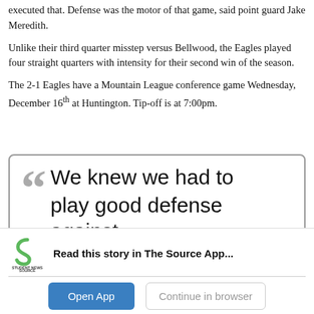executed that. Defense was the motor of that game, said point guard Jake Meredith.
Unlike their third quarter misstep versus Bellwood, the Eagles played four straight quarters with intensity for their second win of the season.
The 2-1 Eagles have a Mountain League conference game Wednesday, December 16th at Huntington. Tip-off is at 7:00pm.
[Figure (other): Pull quote box with large decorative quotation marks and text reading: We knew we had to play good defense against]
[Figure (other): Student News Source app banner with logo, text 'Read this story in The Source App...', Open App button and Continue in browser button]